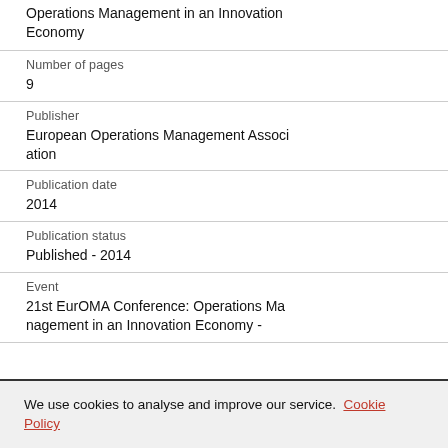Operations Management in an Innovation Economy
Number of pages
9
Publisher
European Operations Management Association
Publication date
2014
Publication status
Published - 2014
Event
21st EurOMA Conference: Operations Management in an Innovation Economy -
We use cookies to analyse and improve our service. Cookie Policy